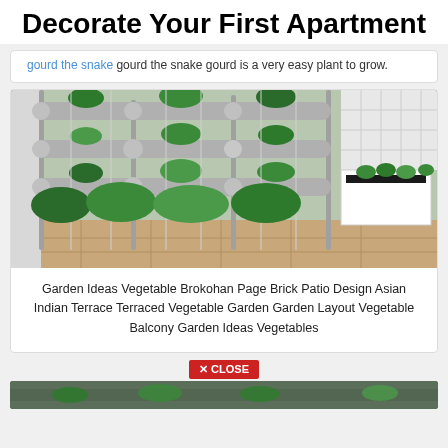Decorate Your First Apartment
gourd the snake gourd is a very easy plant to grow.
[Figure (photo): Vertical hydroponic garden with PVC pipes and green plants on a balcony/terrace]
Garden Ideas Vegetable Brokohan Page Brick Patio Design Asian Indian Terrace Terraced Vegetable Garden Garden Layout Vegetable Balcony Garden Ideas Vegetables
[Figure (other): Close button bar with red X CLOSE button]
[Figure (photo): Partial view of another garden image at bottom]